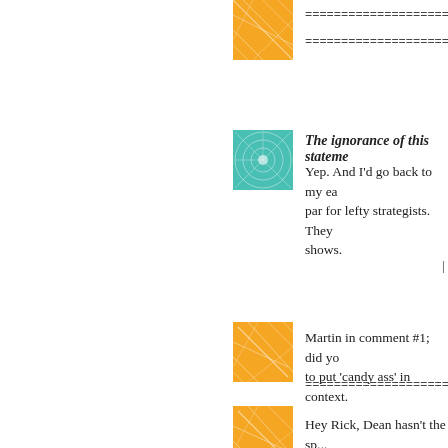[Figure (illustration): Orange abstract geometric avatar icon with diagonal lines]
======================
[Figure (illustration): Teal/green abstract tunnel/grid avatar icon]
The ignorance of this stateme...
Yep. And I'd go back to my ea... par for lefty strategists. They ... shows.
[Figure (illustration): Orange abstract geometric avatar icon with diagonal lines]
Martin in comment #1; did yo... to put 'candy ass' in context.
======================
[Figure (illustration): Orange abstract geometric avatar icon with diagonal lines]
Hey Rick, Dean hasn't the sp...
======================
[Figure (illustration): Orange abstract geometric avatar icon with diagonal lines]
I hope the Left and Obama k...